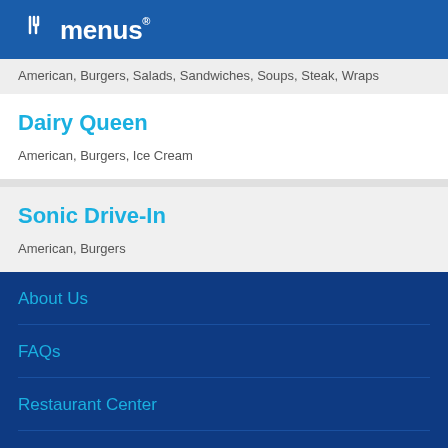allmenus
American, Burgers, Salads, Sandwiches, Soups, Steak, Wraps
Dairy Queen
American, Burgers, Ice Cream
Sonic Drive-In
American, Burgers
About Us
FAQs
Restaurant Center
Contact Us